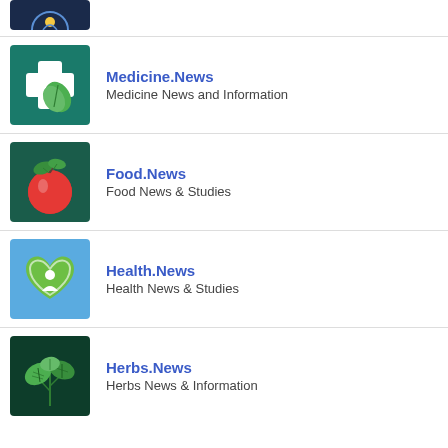[Figure (logo): Partial logo at top of page, dark navy background with circular icon]
[Figure (logo): Medicine.News logo: teal background with white medical cross and green leaf]
Medicine.News
Medicine News and Information
[Figure (logo): Food.News logo: dark teal background with red apple and green leaves]
Food.News
Food News & Studies
[Figure (logo): Health.News logo: light blue background with green heart and person icon]
Health.News
Health News & Studies
[Figure (logo): Herbs.News logo: dark green background with green herb leaves]
Herbs.News
Herbs News & Information